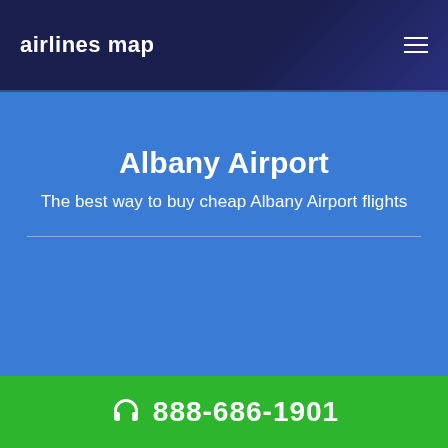airlines map
Albany Airport
The best way to buy cheap Albany Airport flights
888-686-1901